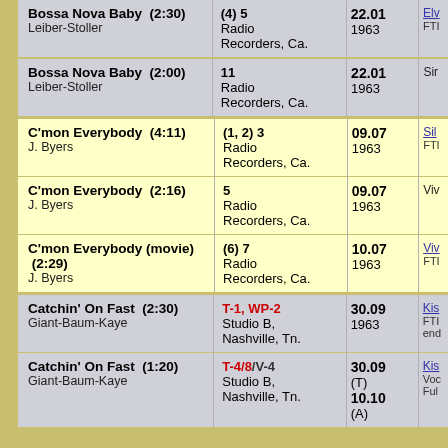| Song | Studio | Date | Artist |
| --- | --- | --- | --- |
| Bossa Nova Baby  (2:30)
Leiber-Stoller | (4) 5
Radio Recorders, Ca. | 22.01
1963 | Elv
FTI |
| Bossa Nova Baby  (2:00)
Leiber-Stoller | 11
Radio Recorders, Ca. | 22.01
1963 | Sir |
| C'mon Everybody  (4:11)
J. Byers | (1, 2) 3
Radio Recorders, Ca. | 09.07
1963 | Sil
FTI |
| C'mon Everybody  (2:16)
J. Byers | 5
Radio Recorders, Ca. | 09.07
1963 | Viv |
| C'mon Everybody (movie)  (2:29)
J. Byers | (6) 7
Radio Recorders, Ca. | 10.07
1963 | Viv
FTI |
| Catchin' On Fast  (2:30)
Giant-Baum-Kaye | T-1, WP-2
Studio B, Nashville, Tn. | 30.09
1963 | Kis
FTI
end |
| Catchin' On Fast  (1:20)
Giant-Baum-Kaye | T-4/8/V-4
Studio B, Nashville, Tn. | 30.09
(T)
10.10
(A) | Kis
Voc
Ful |